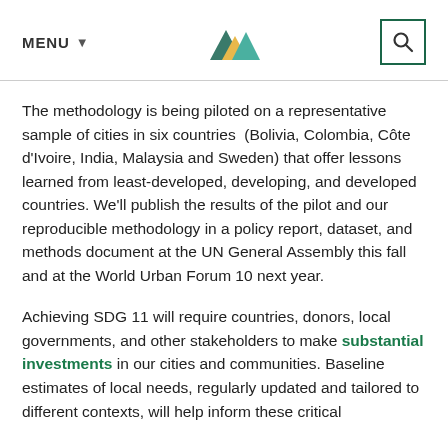MENU [logo] [search]
The methodology is being piloted on a representative sample of cities in six countries  (Bolivia, Colombia, Côte d'Ivoire, India, Malaysia and Sweden) that offer lessons learned from least-developed, developing, and developed countries. We'll publish the results of the pilot and our reproducible methodology in a policy report, dataset, and methods document at the UN General Assembly this fall and at the World Urban Forum 10 next year.
Achieving SDG 11 will require countries, donors, local governments, and other stakeholders to make substantial investments in our cities and communities. Baseline estimates of local needs, regularly updated and tailored to different contexts, will help inform these critical